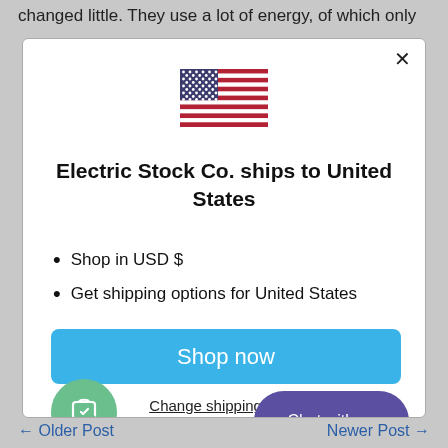changed little. They use a lot of energy, of which only
[Figure (screenshot): Modal dialog showing US flag, title 'Electric Stock Co. ships to United States', bullet points about USD shopping and shipping options, a blue 'Shop now' button, a 'Change shipping country' link, a green shopping bag icon circle, and a purple 'Chat with us' button.]
Shop in USD $
Get shipping options for United States
← Older Post    Newer Post →